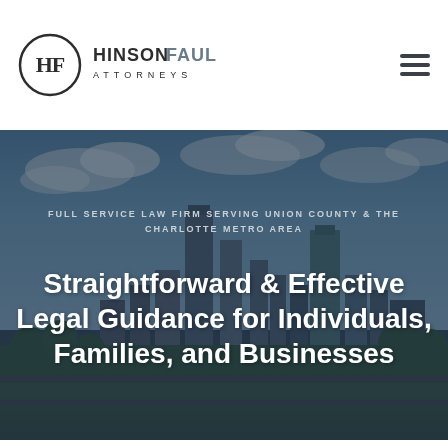[Figure (logo): HinsonFaulk Attorneys logo — circular HF monogram with HINSON in dark and FAULK in slate grey, ATTORNEYS beneath]
FULL SERVICE LAW FIRM SERVING UNION COUNTY & THE CHARLOTTE METRO AREA
Straightforward & Effective Legal Guidance for Individuals, Families, and Businesses
[Figure (photo): Charlotte, NC city skyline aerial view with blue sky and clouds, dark overlay applied]